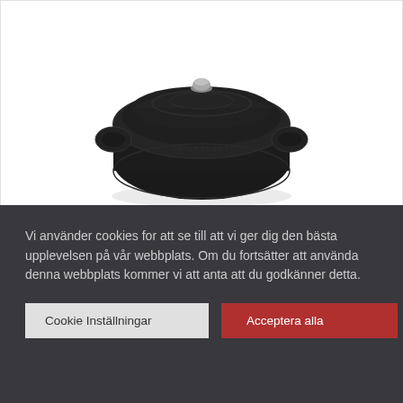[Figure (photo): A black Le Creuset round French oven / dutch oven with lid and two handles, photographed on a white background from a slightly elevated angle. The lid has a stainless steel knob.]
Vi använder cookies for att se till att vi ger dig den bästa upplevelsen på vår webbplats. Om du fortsätter att använda denna webbplats kommer vi att anta att du godkänner detta.
Cookie Inställningar
Acceptera alla